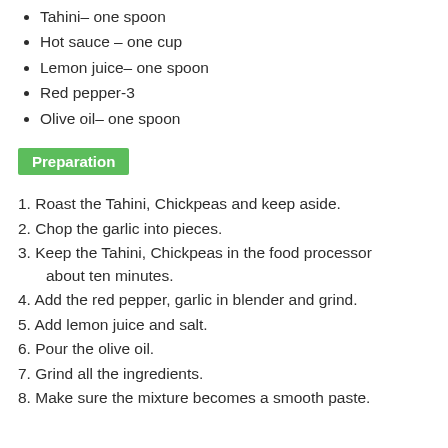Tahini– one spoon
Hot sauce – one cup
Lemon juice– one spoon
Red pepper-3
Olive oil– one spoon
Preparation
1. Roast the Tahini, Chickpeas and keep aside.
2. Chop the garlic into pieces.
3. Keep the Tahini, Chickpeas in the food processor about ten minutes.
4. Add the red pepper, garlic in blender and grind.
5. Add lemon juice and salt.
6. Pour the olive oil.
7. Grind all the ingredients.
8. Make sure the mixture becomes a smooth paste.